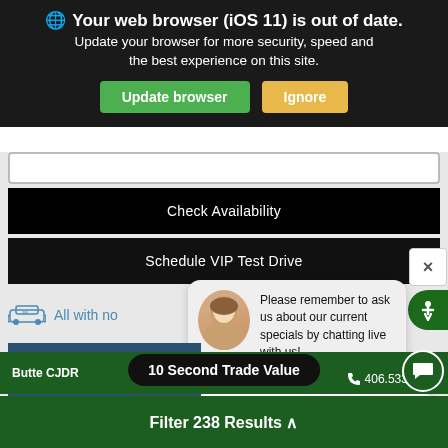Your web browser (iOS 11) is out of date. Update your browser for more security, speed and the best experience on this site.
Update browser
Ignore
Check Availability
Schedule VIP Test Drive
×
All with no
Please remember to ask us about our current specials by chatting live with us!
Estimate financ
Enter your message
10 Second Trade Value
Butte CJDR
406.533.3634
Filter 238 Results ^